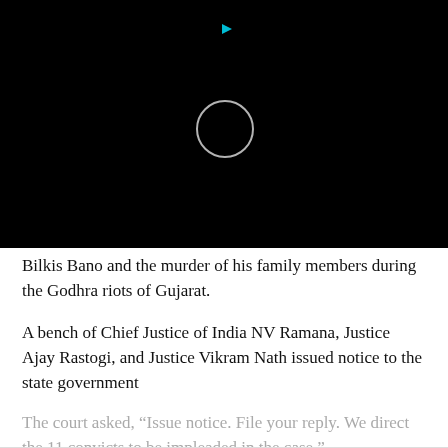[Figure (screenshot): Black header area with a loading spinner circle (white circle outline) and a small blue triangle/play icon at the top center]
Bilkis Bano and the murder of his family members during the Godhra riots of Gujarat.
A bench of Chief Justice of India NV Ramana, Justice Ajay Rastogi, and Justice Vikram Nath issued notice to the state government
The court asked, “Issue notice. File your reply. We direct the 11 convicts to be impleaded in the case.”
CONTINUE READING